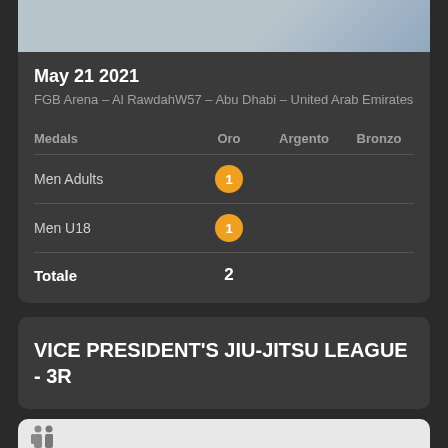[Figure (photo): Partial image of athlete at top of card]
May 21 2021
FGB Arena – Al RawdahW57 – Abu Dhabi – United Arab Emirates
| Medals | Oro | Argento | Bronzo |
| --- | --- | --- | --- |
| Men Adults | 1 |  |  |
| Men U18 | 1 |  |  |
| Totale | 2 |  |  |
VICE PRESIDENT'S JIU-JITSU LEAGUE - 3R
[Figure (photo): Partial image of athletes at bottom of page]